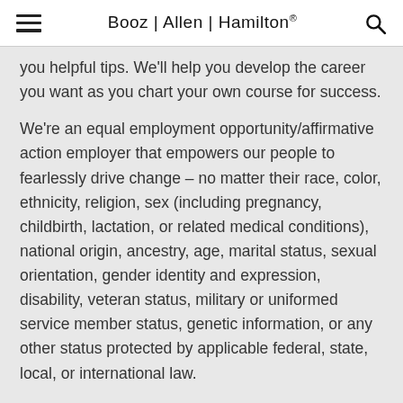Booz | Allen | Hamilton®
you helpful tips. We'll help you develop the career you want as you chart your own course for success.
We're an equal employment opportunity/affirmative action employer that empowers our people to fearlessly drive change – no matter their race, color, ethnicity, religion, sex (including pregnancy, childbirth, lactation, or related medical conditions), national origin, ancestry, age, marital status, sexual orientation, gender identity and expression, disability, veteran status, military or uniformed service member status, genetic information, or any other status protected by applicable federal, state, local, or international law.